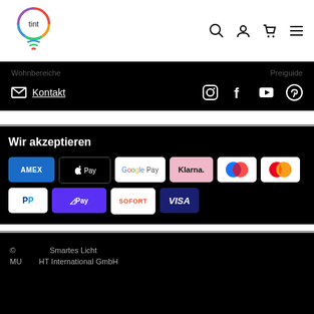[Figure (logo): Tint smart lighting logo - colorful circle with lightbulb shape and wifi waves, text 'tint' inside]
[Figure (infographic): Navigation icons: search, user account, shopping cart, hamburger menu]
Kontakt
[Figure (infographic): Social media icons: Instagram, Facebook, YouTube, Pinterest]
Wir akzeptieren
[Figure (infographic): Payment method icons: AMEX, Apple Pay, Google Pay, Klarna, Maestro, Mastercard, PayPal, ShopPay, Sofort, Visa]
© Smartes Licht
MU... HT International GmbH